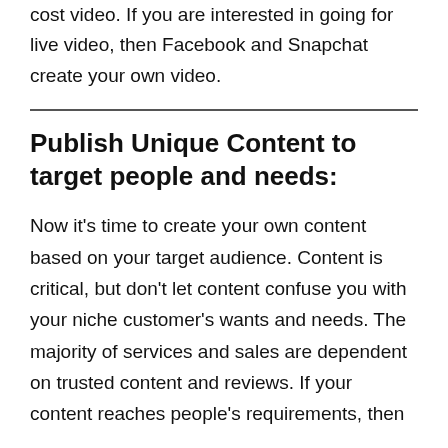software or expensive SLRs to make a high cost video. If you are interested in going for live video, then Facebook and Snapchat create your own video.
Publish Unique Content to target people and needs:
Now it's time to create your own content based on your target audience. Content is critical, but don't let content confuse you with your niche customer's wants and needs. The majority of services and sales are dependent on trusted content and reviews. If your content reaches people's requirements, then